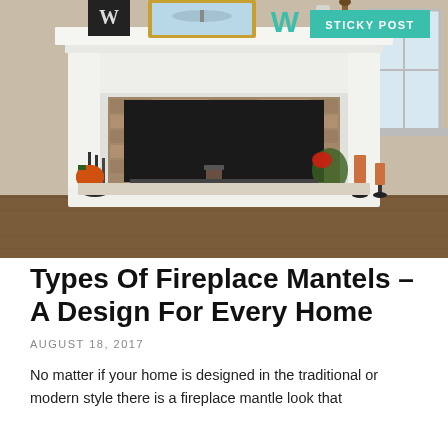[Figure (photo): Photo of a white fireplace mantel with stone surround, decorated with pumpkins, candles, greenery, and decorative letters W on the mantel shelf. A gold-framed mirror and teal letter W are on the mantel. The room has hardwood floors and beige walls. A teal 'STICKY POST' badge is in the upper right corner of the image.]
Types Of Fireplace Mantels – A Design For Every Home
AUGUST 18, 2017
No matter if your home is designed in the traditional or modern style there is a fireplace mantle look that